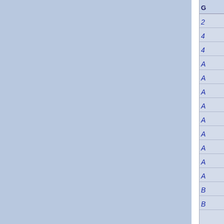| G |
| --- |
| 2 |
| 4 |
| 4 |
| A |
| A |
| A |
| A |
| A |
| A |
| A |
| A |
| A |
| A |
| B |
| B |